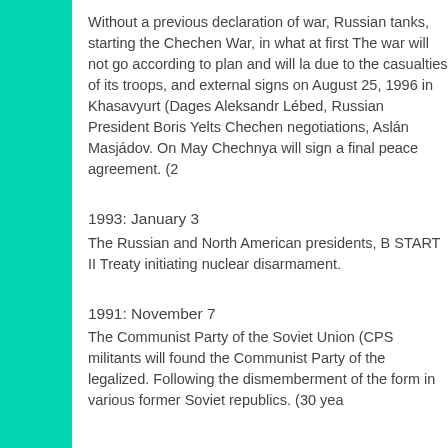Without a previous declaration of war, Russian tanks, starting the Chechen War, in what at first The war will not go according to plan and will la due to the casualties of its troops, and external signs on August 25, 1996 in Khasavyurt (Dages Aleksandr Lébed, Russian President Boris Yelts Chechen negotiations, Aslán Masjádov. On May Chechnya will sign a final peace agreement. (2
1993: January 3
The Russian and North American presidents, B START II Treaty initiating nuclear disarmament.
1991: November 7
The Communist Party of the Soviet Union (CPS militants will found the Communist Party of the legalized. Following the dismemberment of the form in various former Soviet republics. (30 yea